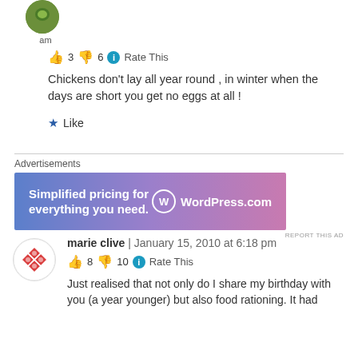[Figure (photo): User avatar circle with green/nature image and text 'am' below]
👍 3 👎 6 ℹ Rate This
Chickens don't lay all year round , in winter when the days are short you get no eggs at all !
★ Like
Advertisements
[Figure (screenshot): WordPress.com advertisement banner: 'Simplified pricing for everything you need.' with WordPress.com logo]
REPORT THIS AD
[Figure (logo): User avatar with red diamond/lattice pattern on white circle]
marie clive | January 15, 2010 at 6:18 pm
👍 8 👎 10 ℹ Rate This
Just realised that not only do I share my birthday with you (a year younger) but also food rationing. It had